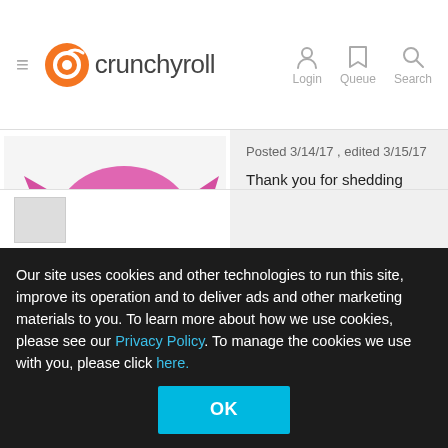Crunchyroll — Login | Queue | Search
[Figure (illustration): Anime chibi character (D.Va from Overwatch) with pink mecha, user avatar for Redded]
Redded 👑
16023 cr points
Send Message: ✏
28 / M
● Offline
Posted 3/14/17 , edited 3/15/17
Thank you for shedding some light on
Our site uses cookies and other technologies to run this site, improve its operation and to deliver ads and other marketing materials to you. To learn more about how we use cookies, please see our Privacy Policy. To manage the cookies we use with you, please click here.
OK